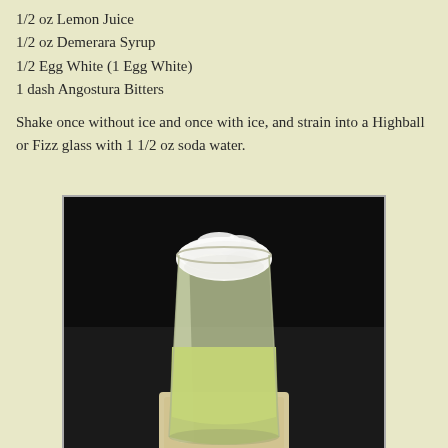1/2 oz Lemon Juice
1/2 oz Demerara Syrup
1/2 Egg White (1 Egg White)
1 dash Angostura Bitters
Shake once without ice and once with ice, and strain into a Highball or Fizz glass with 1 1/2 oz soda water.
[Figure (photo): A highball glass filled with a pale yellow-green cocktail topped with a thick white foam head, sitting on a cream-colored square coaster on a dark surface.]